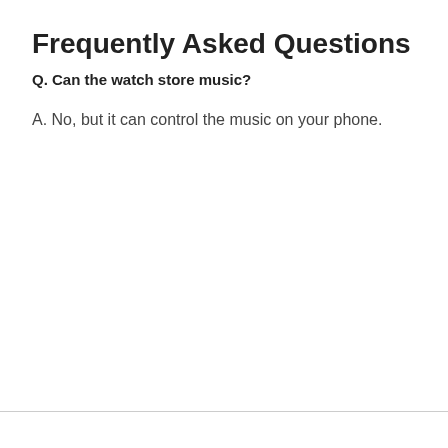Frequently Asked Questions
Q. Can the watch store music?
A. No, but it can control the music on your phone.